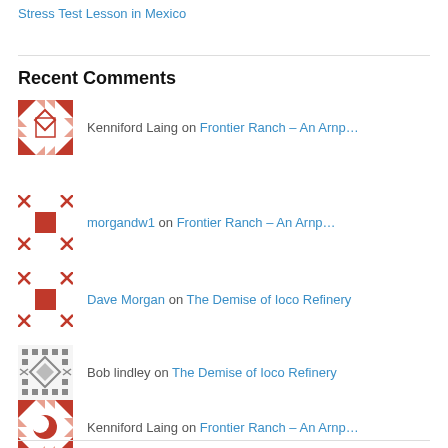Stress Test Lesson in Mexico
Recent Comments
Kenniford Laing on Frontier Ranch – An Arnp…
morgandw1 on Frontier Ranch – An Arnp…
Dave Morgan on The Demise of Ioco Refinery
Bob lindley on The Demise of Ioco Refinery
Kenniford Laing on Frontier Ranch – An Arnp…